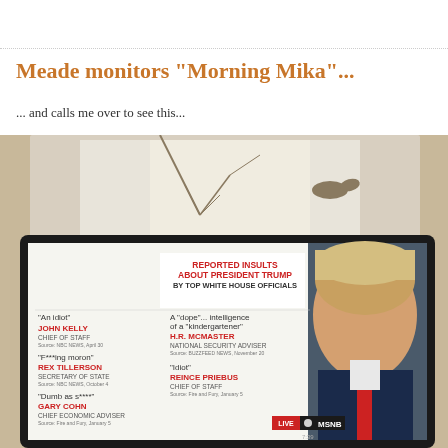Meade monitors "Morning Mika"...
... and calls me over to see this...
[Figure (photo): Photo of a television screen showing an MSNBC graphic titled 'Reported Insults About President Trump By Top White House Officials', listing: 'An idiot' - John Kelly, Chief of Staff (Source: NBC News, April 30); A "dope"... intelligence of a "kindergartener" - H.R. McMaster, National Security Adviser (Source: BuzzFeed News, November 20); 'F***ing moron' - Rex Tillerson, Secretary of State (Source: NBC News, October 4); 'Idiot' - Reince Priebus, Chief of Staff (Source: Fire and Fury, January 5); 'Dumb as s****' - Gary Cohn, Chief Economic Adviser (Source: Fire and Fury, January 5). Donald Trump's face is visible on the right side. MSNBC logo and timestamp 7:39 visible at bottom right.]